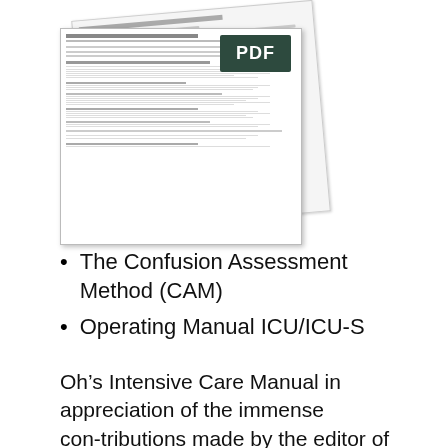[Figure (other): A scanned or rendered PDF document page showing a medical assessment form (appears to be the Confusion Assessment Method / CAM form), displayed with a PDF badge overlay. Two overlapping document sheets are visible, the front one showing form fields, checkboxes, and lines typical of a clinical assessment tool.]
The Confusion Assessment Method (CAM)
Operating Manual ICU/ICU-S
Oh’s Intensive Care Manual in appreciation of the immense contributions made by the editor of the previous editions who had developed the book from the beginning to